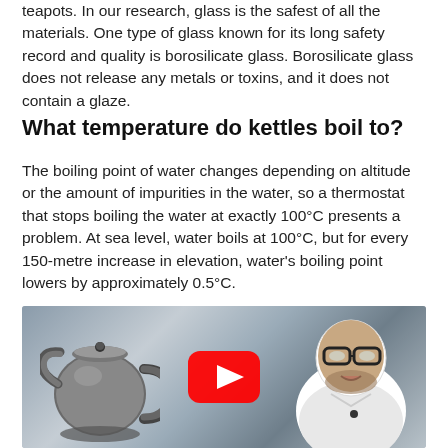teapots. In our research, glass is the safest of all the materials. One type of glass known for its long safety record and quality is borosilicate glass. Borosilicate glass does not release any metals or toxins, and it does not contain a glaze.
What temperature do kettles boil to?
The boiling point of water changes depending on altitude or the amount of impurities in the water, so a thermostat that stops boiling the water at exactly 100°C presents a problem. At sea level, water boils at 100°C, but for every 150-metre increase in elevation, water's boiling point lowers by approximately 0.5°C.
[Figure (screenshot): YouTube video thumbnail showing a stainless steel kettle on the left and a bald man with glasses and a beard on the right, with a red YouTube play button in the center.]